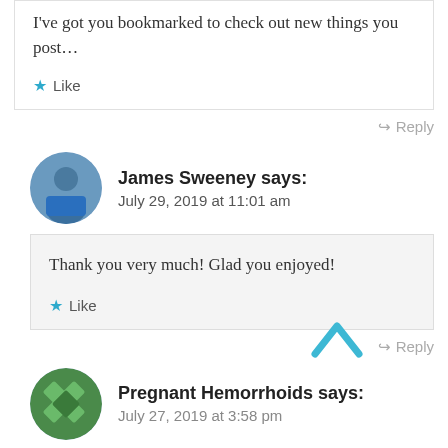I've got you bookmarked to check out new things you post…
Like
Reply
James Sweeney says: July 29, 2019 at 11:01 am
Thank you very much! Glad you enjoyed!
Like
Reply
Pregnant Hemorrhoids says: July 27, 2019 at 3:58 pm